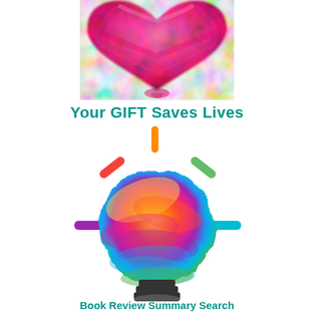[Figure (illustration): Watercolor-style pink/red heart shape at top center of page, partially cropped at top]
Your GIFT Saves Lives
[Figure (illustration): Colorful rainbow lightbulb illustration with multicolored rays (orange at top, red upper-left, green upper-right, purple left, cyan right) and dark base/filament stripes at bottom]
Book Review Summary Search